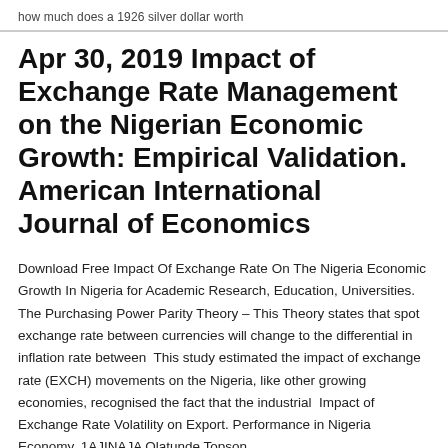how much does a 1926 silver dollar worth
Apr 30, 2019 Impact of Exchange Rate Management on the Nigerian Economic Growth: Empirical Validation. American International Journal of Economics
Download Free Impact Of Exchange Rate On The Nigeria Economic Growth In Nigeria for Academic Research, Education, Universities. The Purchasing Power Parity Theory – This Theory states that spot exchange rate between currencies will change to the differential in inflation rate between  This study estimated the impact of exchange rate (EXCH) movements on the Nigeria, like other growing economies, recognised the fact that the industrial  Impact of Exchange Rate Volatility on Export. Performance in Nigeria Economy. 1AJINAJA Olatunde Topson,